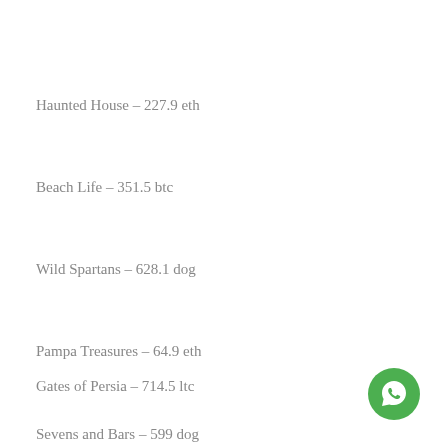Haunted House – 227.9 eth
Beach Life – 351.5 btc
Wild Spartans – 628.1 dog
Pampa Treasures – 64.9 eth
Gates of Persia – 714.5 ltc
Sevens and Bars – 599 dog